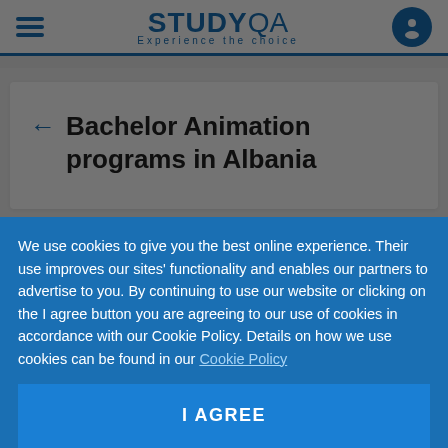STUDY QA — Experience the choice
← Bachelor Animation programs in Albania
See all the results ▼
Best Universities with Animation in Albania
We use cookies to give you the best online experience. Their use improves our sites' functionality and enables our partners to advertise to you. By continuing to use our website or clicking on the I agree button you are agreeing to our use of cookies in accordance with our Cookie Policy. Details on how we use cookies can be found in our Cookie Policy
I AGREE